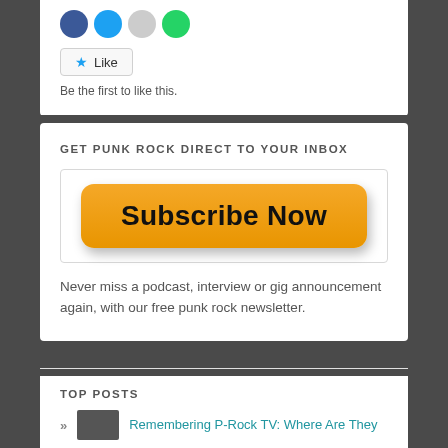[Figure (other): Social share icons (Facebook blue, Twitter blue, grey dot, WhatsApp green circles) and a Like button with a star icon]
Be the first to like this.
GET PUNK ROCK DIRECT TO YOUR INBOX
[Figure (other): Orange rounded rectangle Subscribe Now button with drop shadow]
Never miss a podcast, interview or gig announcement again, with our free punk rock newsletter.
TOP POSTS
Remembering P-Rock TV: Where Are They